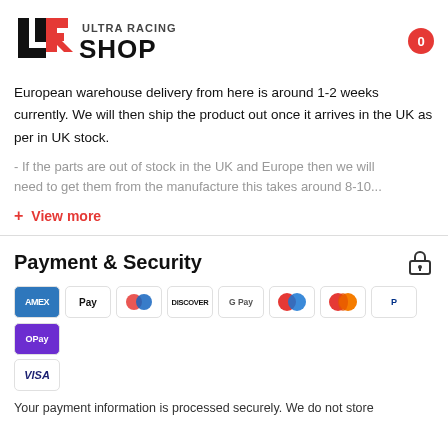[Figure (logo): Ultra Racing Shop logo with UR stylized letters in black and red, text ULTRA RACING SHOP]
European warehouse delivery from here is around 1-2 weeks currently. We will then ship the product out once it arrives in the UK as per in UK stock.
- If the parts are out of stock in the UK and Europe then we will need to get them from the manufacture this takes around 8-10...
+ View more
Payment & Security
[Figure (infographic): Payment method icons: Amex, Apple Pay, Diners Club, Discover, Google Pay, Maestro, Mastercard, PayPal, OPay, Visa]
Your payment information is processed securely. We do not store